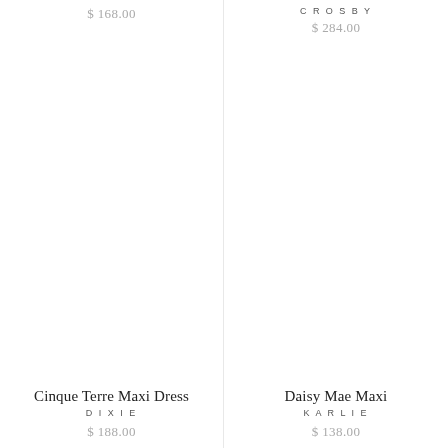$ 168.00
CROSBY
$ 284.00
Cinque Terre Maxi Dress
DIXIE
$ 188.00
Daisy Mae Maxi
KARLIE
$ 138.00